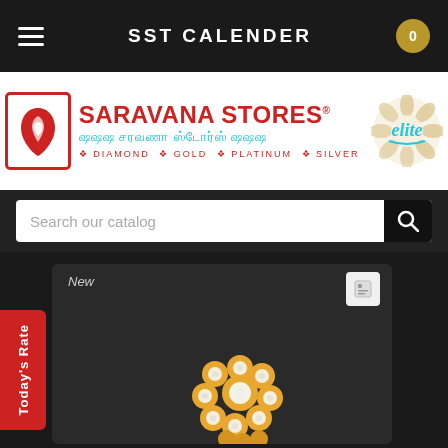SST CALENDER
[Figure (logo): Saravana Stores Elite logo with red icon box, Tamil text, and decorative floral elite script. Subtitles: DIAMOND, GOLD, PLATINUM, SILVER]
Search our catalog
New
Today's Rate